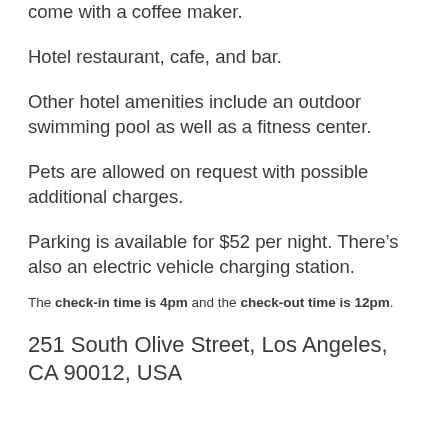come with a coffee maker.
Hotel restaurant, cafe, and bar.
Other hotel amenities include an outdoor swimming pool as well as a fitness center.
Pets are allowed on request with possible additional charges.
Parking is available for $52 per night. There’s also an electric vehicle charging station.
The check-in time is 4pm and the check-out time is 12pm.
251 South Olive Street, Los Angeles, CA 90012, USA